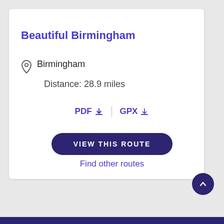Beautiful Birmingham
Birmingham
Distance: 28.9 miles
PDF ↓ | GPX ↓
VIEW THIS ROUTE
Find other routes